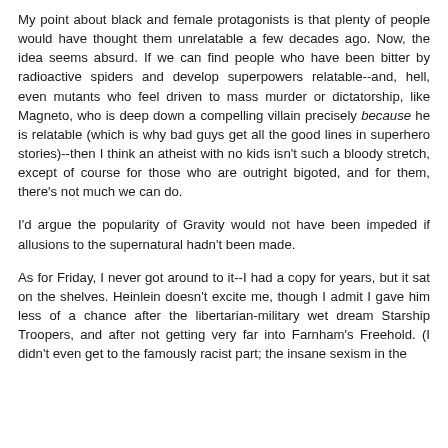My point about black and female protagonists is that plenty of people would have thought them unrelatable a few decades ago. Now, the idea seems absurd. If we can find people who have been bitter by radioactive spiders and develop superpowers relatable--and, hell, even mutants who feel driven to mass murder or dictatorship, like Magneto, who is deep down a compelling villain precisely because he is relatable (which is why bad guys get all the good lines in superhero stories)--then I think an atheist with no kids isn't such a bloody stretch, except of course for those who are outright bigoted, and for them, there's not much we can do.
I'd argue the popularity of Gravity would not have been impeded if allusions to the supernatural hadn't been made.
As for Friday, I never got around to it--I had a copy for years, but it sat on the shelves. Heinlein doesn't excite me, though I admit I gave him less of a chance after the libertarian-military wet dream Starship Troopers, and after not getting very far into Farnham's Freehold. (I didn't even get to the famously racist part; the insane sexism in the